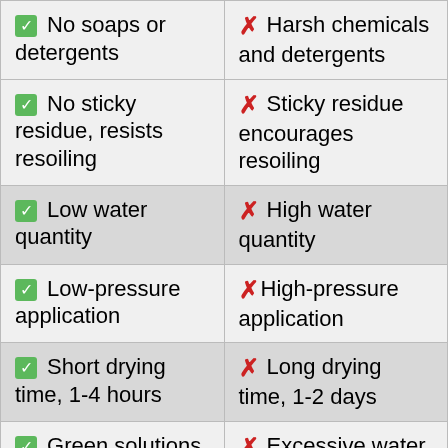| Do | Don't |
| --- | --- |
| ✓ No soaps or detergents | ✗ Harsh chemicals and detergents |
| ✓ No sticky residue, resists resoiling | ✗ Sticky residue encourages resoiling |
| ✓ Low water quantity | ✗ High water quantity |
| ✓ Low-pressure application | ✗ High-pressure application |
| ✓ Short drying time, 1-4 hours | ✗ Long drying time, 1-2 days |
| ✓ Green solutions, healthier cleaning | ✗ Excessive water can cause |